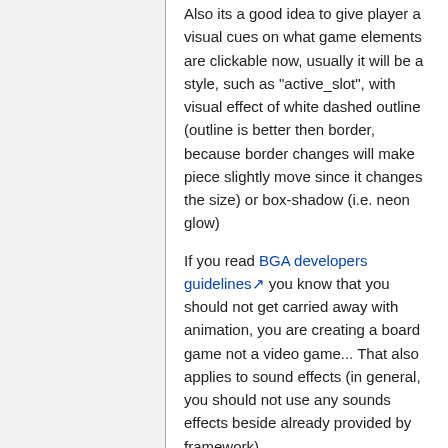Also its a good idea to give player a visual cues on what game elements are clickable now, usually it will be a style, such as "active_slot", with visual effect of white dashed outline (outline is better then border, because border changes will make piece slightly move since it changes the size) or box-shadow (i.e. neon glow)
If you read BGA developers guidelines you know that you should not get carried away with animation, you are creating a board game not a video game... That also applies to sound effects (in general, you should not use any sounds effects beside already provided by framework).
See Player's Input and Animation and DOM Manipulation for JS reference.
Create Database Schema